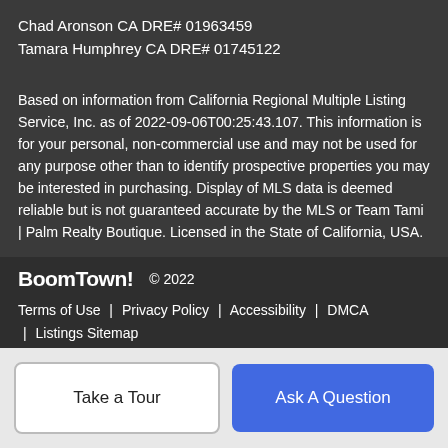Chad Aronson CA DRE# 01963459
Tamara Humphrey CA DRE# 01745122
Based on information from California Regional Multiple Listing Service, Inc. as of 2022-09-06T00:25:43.107. This information is for your personal, non-commercial use and may not be used for any purpose other than to identify prospective properties you may be interested in purchasing. Display of MLS data is deemed reliable but is not guaranteed accurate by the MLS or Team Tami | Palm Realty Boutique. Licensed in the State of California, USA.
BoomTown! © 2022
Terms of Use | Privacy Policy | Accessibility | DMCA | Listings Sitemap
Take a Tour
Ask A Question